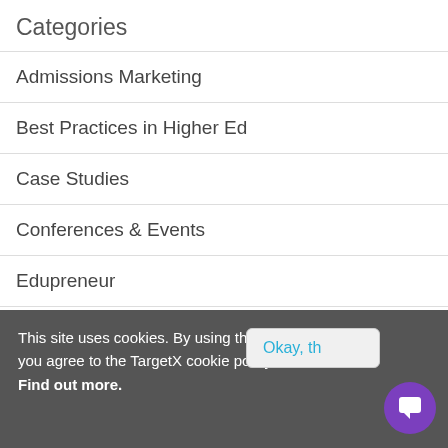Categories
Admissions Marketing
Best Practices in Higher Ed
Case Studies
Conferences & Events
Edupreneur
Happy Hour
This site uses cookies. By using this site you agree to the TargetX cookie policy. Find out more.